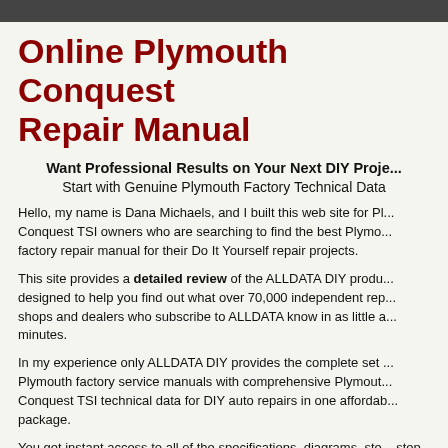Online Plymouth Conquest Repair Manual
Want Professional Results on Your Next DIY Project? Start with Genuine Plymouth Factory Technical Data
Hello, my name is Dana Michaels, and I built this web site for Plymouth Conquest TSI owners who are searching to find the best Plymouth factory repair manual for their Do It Yourself repair projects.
This site provides a detailed review of the ALLDATA DIY product designed to help you find out what over 70,000 independent repair shops and dealers who subscribe to ALLDATA know in as little as minutes.
In my experience only ALLDATA DIY provides the complete set of Plymouth factory service manuals with comprehensive Plymouth Conquest TSI technical data for DIY auto repairs in one affordable package.
You get instant access to all of the specifications, diagrams, step-by-step procedures, OEM part numbers, technical service bulletins,